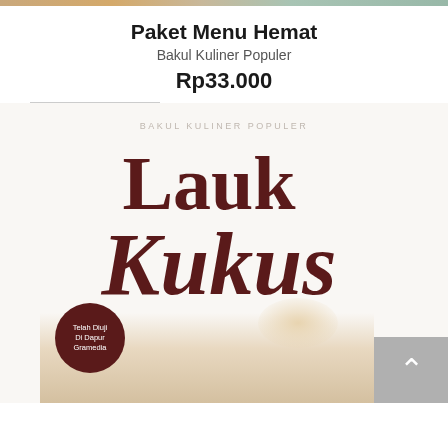[Figure (photo): Thin decorative image strip at the top of the page showing a blurred food/background image]
Paket Menu Hemat
Bakul Kuliner Populer
Rp33.000
[Figure (photo): Book cover for 'Lauk Kukus' by Bakul Kuliner Populer. White background with large dark brown serif and script text reading 'Lauk Kukus'. Small text at top reads 'BAKUL KULINER POPULER'. A dark brown circular badge at bottom left reads 'Telah Diuji Di Dapur Gramedia'. A photo of steamed food dish visible at bottom. A grey back-to-top button with upward arrow chevron at bottom right.]